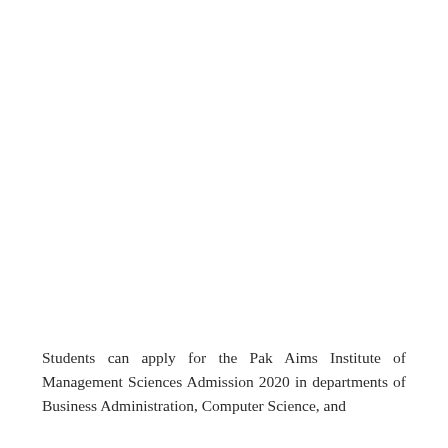Students can apply for the Pak Aims Institute of Management Sciences Admission 2020 in departments of Business Administration, Computer Science, and